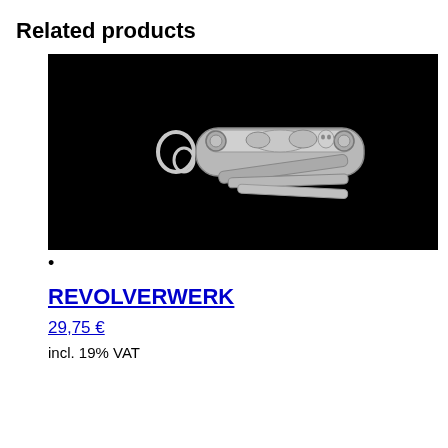Related products
[Figure (photo): A silver multi-tool keychain/pendant with intricate decorative engravings depicting mechanical parts, set against a black background.]
REVOLVERWERK
29,75 €
incl. 19% VAT